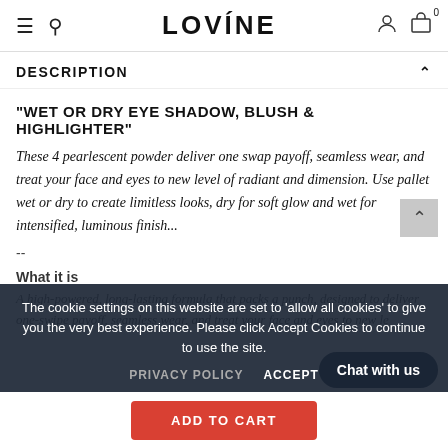LOVINE
DESCRIPTION
"WET OR DRY EYE SHADOW, BLUSH & HIGHLIGHTER"
These 4 pearlescent powder deliver one swap payoff, seamless wear, and treat your face and eyes to new level of radiant and dimension. Use pallet wet or dry to create limitless looks, dry for soft glow and wet for intensified, luminous finish...
--
What it is
A high-powered, long-lasting formula that packs a punch, designed to deliver one-swipe payoff, seamless wear, and treat your face and eyes to new le
The cookie settings on this website are set to 'allow all cookies' to give you the very best experience. Please click Accept Cookies to continue to use the site.
PRIVACY POLICY  ACCEPT
Chat with us
ADD TO CART